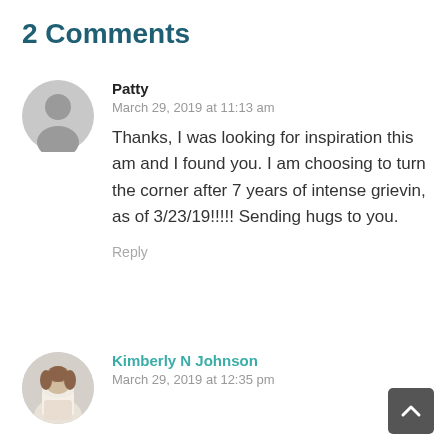2 Comments
Patty
March 29, 2019 at 11:13 am

Thanks, I was looking for inspiration this am and I found you. I am choosing to turn the corner after 7 years of intense grievin, as of 3/23/19!!!!! Sending hugs to you.

Reply
Kimberly N Johnson
March 29, 2019 at 12:35 pm